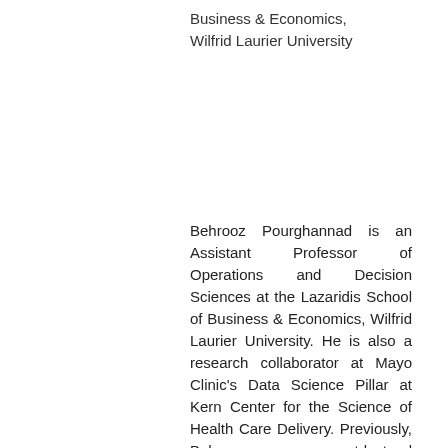Business & Economics, Wilfrid Laurier University
Behrooz Pourghannad is an Assistant Professor of Operations and Decision Sciences at the Lazaridis School of Business & Economics, Wilfrid Laurier University. He is also a research collaborator at Mayo Clinic's Data Science Pillar at Kern Center for the Science of Health Care Delivery. Previously, Behrooz was a postdoctoral fellow at the Institute for Mathematics and its Application (University of Minnesota) and Kern Center for the Science of Health